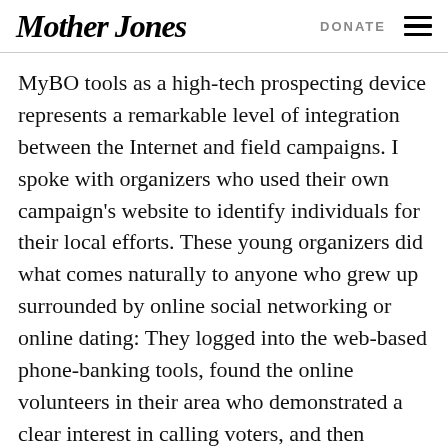Mother Jones  DONATE
MyBO tools as a high-tech prospecting device represents a remarkable level of integration between the Internet and field campaigns. I spoke with organizers who used their own campaign's website to identify individuals for their local efforts. These young organizers did what comes naturally to anyone who grew up surrounded by online social networking or online dating: They logged into the web-based phone-banking tools, found the online volunteers in their area who demonstrated a clear interest in calling voters, and then invited those volunteers into the local office for more rigorous canvassing and voter-contact work. (Zack Exley, who also spent time with the Obama campaign in